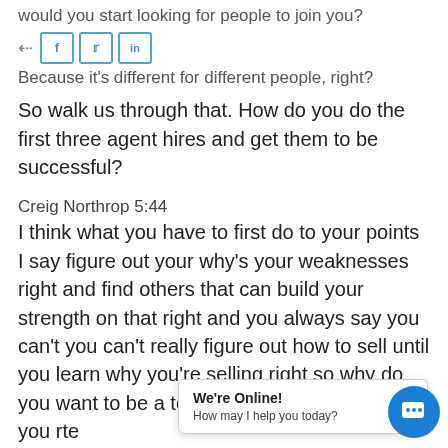would you start looking for people to join you?
[Figure (screenshot): Social share bar with Facebook, Twitter, and LinkedIn buttons]
Because it's different for different people, right? So walk us through that. How do you do the first three agent hires and get them to be successful?
Creig Northrop 5:44
I think what you have to first do to your points I say figure out your why's your weaknesses right and find others that can build your strength on that right and you always say you can't you can't really figure out how to sell until you learn why you're selling right so why do you want to be a team define te reasons why you rte
[Figure (screenshot): Chat popup widget with 'We're Online! How may I help you today?' message and blue chat button]